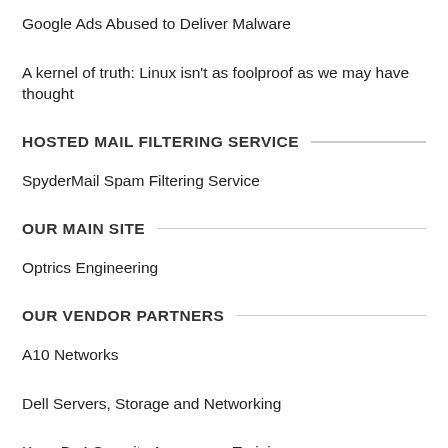Google Ads Abused to Deliver Malware
A kernel of truth: Linux isn't as foolproof as we may have thought
HOSTED MAIL FILTERING SERVICE
SpyderMail Spam Filtering Service
OUR MAIN SITE
Optrics Engineering
OUR VENDOR PARTNERS
A10 Networks
Dell Servers, Storage and Networking
KnowBe4 Security Awareness Training
ManageEngine
Quest Software